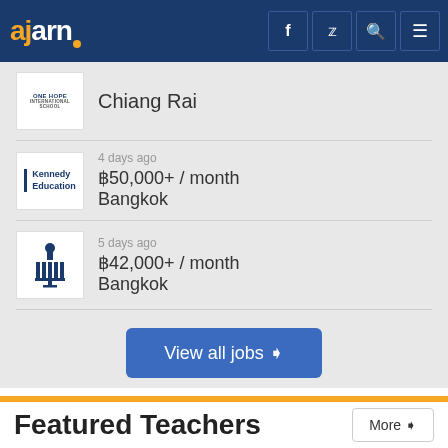ajarn
ONE HOPE / Chiang Rai
4 days ago / ฿50,000+ / month / Bangkok
5 days ago / ฿42,000+ / month / Bangkok
View all jobs
Featured Teachers
Oleksandra